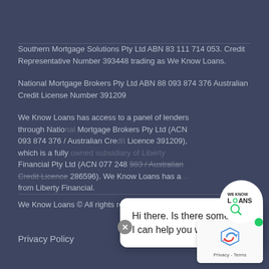Southern Mortgage Solutions Pty Ltd ABN 83 111 714 053. Credit Representative Number 393448 trading as We Know Loans.
National Mortgage Brokers Pty Ltd ABN 88 093 874 376 Australian Credit License Number 391209
We Know Loans has access to a panel of lenders through National Mortgage Brokers Pty Ltd (ACN 093 874 376 / Australian Credit Licence 391209), which is a fully owned subsidiary of Liberty Financial Pty Ltd (ACN 077 248 983 / Australian Credit Licence 286596). We Know Loans has a... from Liberty Financial.
[Figure (logo): We Know Loans circular logo with magnifying glass icon]
[Figure (screenshot): Chat widget popup with text: Hi there. Is there something I can help you with?]
We Know Loans © All rights reserved. Website by WebSteps
Privacy Policy
[Figure (logo): reCAPTCHA Privacy - Terms badge]